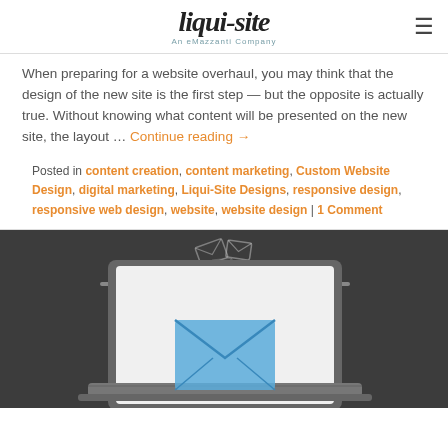liqui-site An eMazzanti Company
When preparing for a website overhaul, you may think that the design of the new site is the first step — but the opposite is actually true. Without knowing what content will be presented on the new site, the layout … Continue reading →
Posted in content creation, content marketing, Custom Website Design, digital marketing, Liqui-Site Designs, responsive design, responsive web design, website, website design | 1 Comment
[Figure (photo): Dark chalkboard background with a laptop computer open on a desk, its screen showing a blue email envelope icon. Several gray envelope icons float above the laptop screen suggesting email communication.]